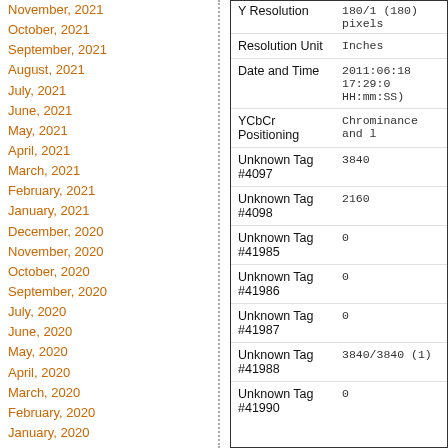November, 2021
October, 2021
September, 2021
August, 2021
July, 2021
June, 2021
May, 2021
April, 2021
March, 2021
February, 2021
January, 2021
December, 2020
November, 2020
October, 2020
September, 2020
July, 2020
June, 2020
May, 2020
April, 2020
March, 2020
February, 2020
January, 2020
December, 2019
November, 2019
October, 2019
| Field | Value |
| --- | --- |
| Y Resolution | 180/1 (180) pixels |
| Resolution Unit | Inches |
| Date and Time | 2011:06:18 17:29:0
HH:mm:SS) |
| YCbCr Positioning | Chrominance and l |
| Unknown Tag #4097 | 3840 |
| Unknown Tag #4098 | 2160 |
| Unknown Tag #41985 | 0 |
| Unknown Tag #41986 | 0 |
| Unknown Tag #41987 | 0 |
| Unknown Tag #41988 | 3840/3840 (1) |
| Unknown Tag #41990 | 0 |